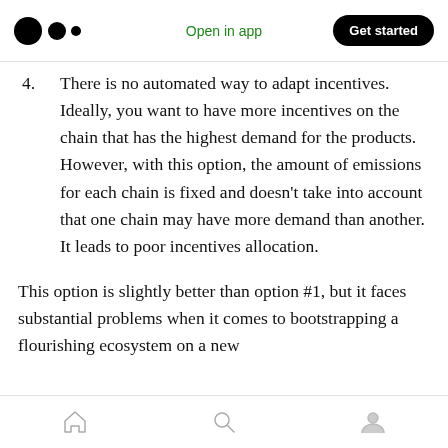Open in app | Get started
4. There is no automated way to adapt incentives. Ideally, you want to have more incentives on the chain that has the highest demand for the products. However, with this option, the amount of emissions for each chain is fixed and doesn't take into account that one chain may have more demand than another. It leads to poor incentives allocation.
This option is slightly better than option #1, but it faces substantial problems when it comes to bootstrapping a flourishing ecosystem on a new
Home | Search | Profile